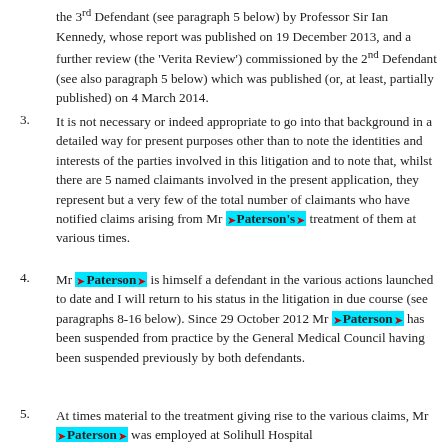the 3rd Defendant (see paragraph 5 below) by Professor Sir Ian Kennedy, whose report was published on 19 December 2013, and a further review (the 'Verita Review') commissioned by the 2nd Defendant (see also paragraph 5 below) which was published (or, at least, partially published) on 4 March 2014.
3. It is not necessary or indeed appropriate to go into that background in a detailed way for present purposes other than to note the identities and interests of the parties involved in this litigation and to note that, whilst there are 5 named claimants involved in the present application, they represent but a very few of the total number of claimants who have notified claims arising from Mr Paterson's treatment of them at various times.
4. Mr Paterson is himself a defendant in the various actions launched to date and I will return to his status in the litigation in due course (see paragraphs 8-16 below). Since 29 October 2012 Mr Paterson has been suspended from practice by the General Medical Council having been suspended previously by both defendants.
5. At times material to the treatment giving rise to the various claims, Mr Paterson was employed at Solihull Hospital